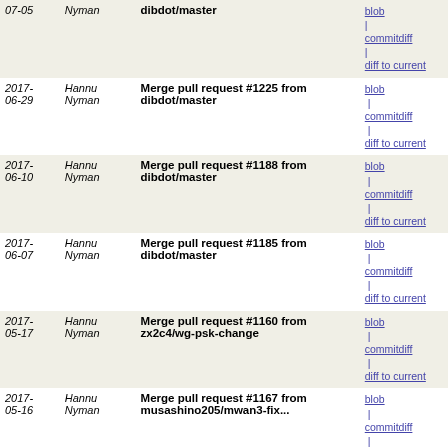| Date | Author | Message | Links |
| --- | --- | --- | --- |
| 2017-07-05 | Nyman | dibdot/master | blob | commitdiff | diff to current |
| 2017-06-29 | Hannu Nyman | Merge pull request #1225 from dibdot/master | blob | commitdiff | diff to current |
| 2017-06-10 | Hannu Nyman | Merge pull request #1188 from dibdot/master | blob | commitdiff | diff to current |
| 2017-06-07 | Hannu Nyman | Merge pull request #1185 from dibdot/master | blob | commitdiff | diff to current |
| 2017-05-17 | Hannu Nyman | Merge pull request #1160 from zx2c4/wg-psk-change | blob | commitdiff | diff to current |
| 2017-05-16 | Hannu Nyman | Merge pull request #1167 from musashino205/mwan3-fix... | blob | commitdiff | diff to current |
| 2017-05-16 | Hannu Nyman | Merge pull request #1031 from feckert/add_dhcp_to_syste... | blob | commitdiff | diff to current |
| 2017-05-15 | INAGAKI Hiroshi | luci-app-mwan3: Fix "ip" command path 1167/head | blob | commitdiff | diff to current |
| 2017-05-08 | Hannu Nyman | Merge pull request #1157 from dibdot/app-adblock | blob | commitdiff | diff to current |
| 2017-05-08 | Hannu Nyman | Merge pull request #1154 from stangri/luci-app-simple... | blob | commitdiff | diff to current |
| 2017-04-27 | Hannu Nyman | Merge pull request #1128 from dibdot/app-adblock | blob | commitdiff | diff to current |
| 2017-04-26 | Hannu Nyman | Merge pull request #1124 from dibdot/app-adblock | blob | commitdiff | diff to current |
| 2017-04-21 | Hannu Nyman | Merge pull request #1118 from dibdot/app-travelmate | blob | commitdiff | diff to current |
| 2017-04-18 | Hannu Nyman | Merge pull request #1110 from psyborg55/psyborg55-patch-1 | blob | commitdiff | diff to current |